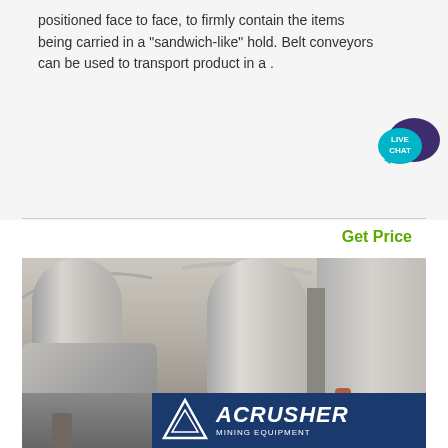positioned face to face, to firmly contain the items being carried in a "sandwich-like" hold. Belt conveyors can be used to transport product in a .
[Figure (other): Live chat speech bubble icon with teal/cyan color and dark purple secondary bubble, labeled LIVE CHAT]
Get Price
[Figure (photo): Industrial facility interior showing large cylindrical silos or mill equipment in a warehouse setting. A worker stands near the right side. In the bottom right overlay is the ACRUSHER MINING EQUIPMENT logo on a dark blue background with a white triangle logo mark.]